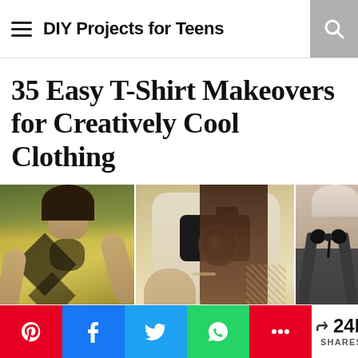DIY Projects for Teens
35 Easy T-Shirt Makeovers for Creatively Cool Clothing
[Figure (photo): Three photos showing DIY t-shirt makeovers: left shows a person from behind with a yellow shirt with diamond cutout; center shows a girl with a camera taking a selfie wearing a lace-detail white top; right shows a person from behind wearing a grey halter top with a black bow tie.]
24K SHARES